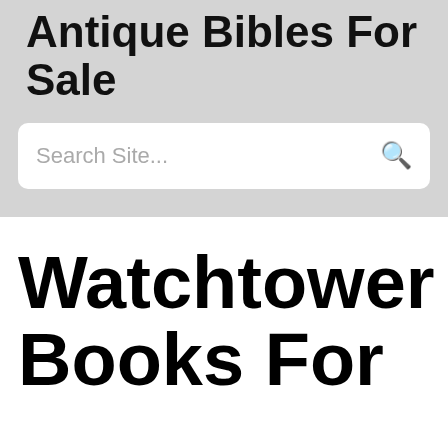Antique Bibles For Sale
[Figure (screenshot): Search bar with placeholder text 'Search Site...' and a search icon on the right]
Watchtower Books For